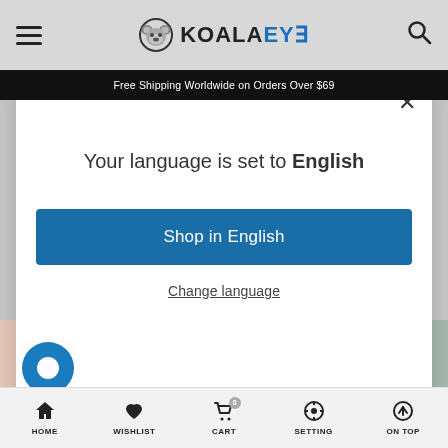KOALAEYE — Free Shipping Worldwide on Orders Over $69
Your language is set to English
Shop in English
Change language
HOME  WISHLIST  CART  SETTING  ON TOP